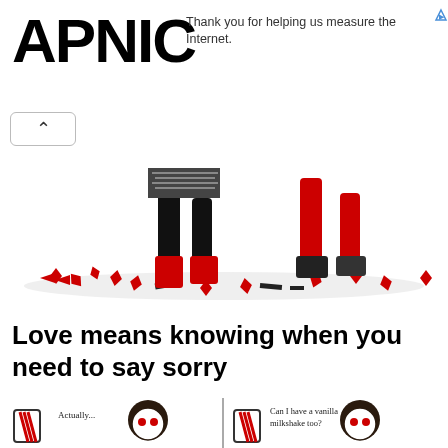APNIC
Thank you for helping us measure the Internet.
[Figure (illustration): Two pairs of legs walking on scattered red hearts and black marks — one person wearing red boots and black dress, another wearing all red.]
Love means knowing when you need to say sorry
[Figure (illustration): Two-panel cartoon comic strip: Left panel shows a cartoon girl with a milkshake saying 'Actually...', right panel shows same girl with another milkshake saying 'Can I have a vanilla milkshake too?']